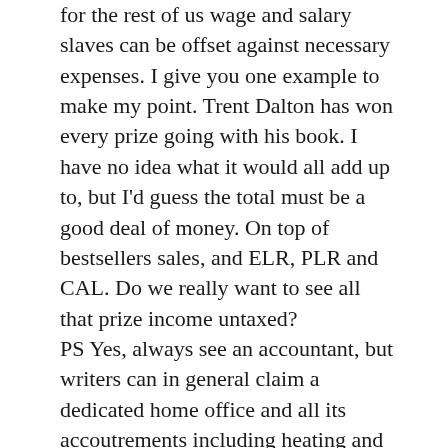for the rest of us wage and salary slaves can be offset against necessary expenses. I give you one example to make my point. Trent Dalton has won every prize going with his book. I have no idea what it would all add up to, but I'd guess the total must be a good deal of money. On top of bestsellers sales, and ELR, PLR and CAL. Do we really want to see all that prize income untaxed?
PS Yes, always see an accountant, but writers can in general claim a dedicated home office and all its accoutrements including heating and cooling it, plus computer/laptop, a proportion of ISP expenses if using it for research, membership of the ASA & writers centres, and *depending on a lot of complex issues*, travel for